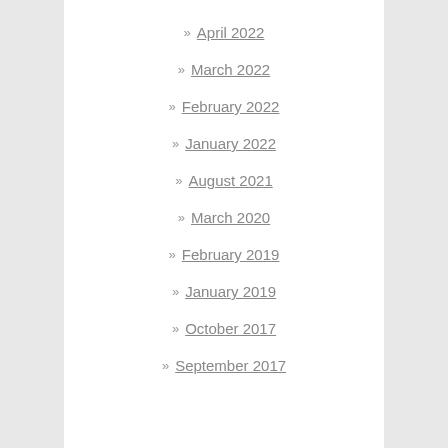April 2022
March 2022
February 2022
January 2022
August 2021
March 2020
February 2019
January 2019
October 2017
September 2017